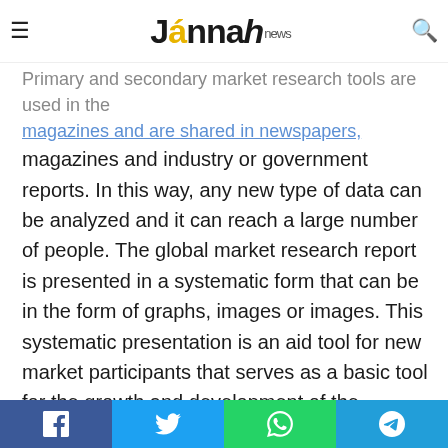Jannah news
Primary and secondary market research tools are used in the magazines and industry or government reports. In this way, any new type of data can be analyzed and it can reach a large number of people. The global market research report is presented in a systematic form that can be in the form of graphs, images or images. This systematic presentation is an aid tool for new market participants that serves as a basic tool for the growth and development of the company.
The major players covered in Adefovir Dipivoxil Markets:
BASF
Lanxess
Bayer
Jiangxi Chenyang Pharmaceutical
Facebook | Twitter | WhatsApp | Telegram